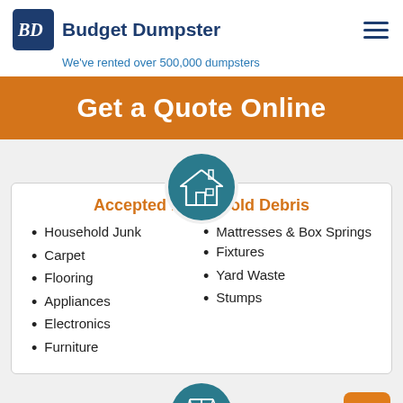[Figure (logo): Budget Dumpster logo with BD icon and hamburger menu]
We've rented over 500,000 dumpsters
Get a Quote Online
Accepted Household Debris
Household Junk
Carpet
Flooring
Appliances
Electronics
Furniture
Mattresses & Box Springs
Fixtures
Yard Waste
Stumps
[Figure (illustration): Teal circle icon with house illustration at top of card]
[Figure (illustration): Teal circle icon with scales/balance illustration at bottom]
[Figure (illustration): Orange chat button in bottom right corner]